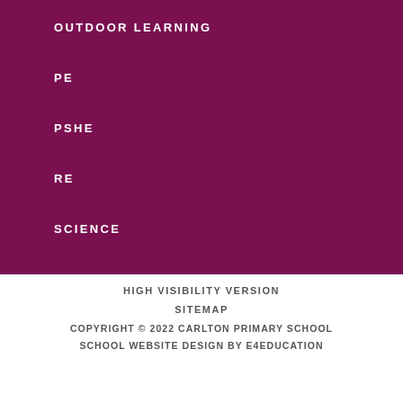OUTDOOR LEARNING
PE
PSHE
RE
SCIENCE
HIGH VISIBILITY VERSION
SITEMAP
COPYRIGHT © 2022 CARLTON PRIMARY SCHOOL
SCHOOL WEBSITE DESIGN BY E4EDUCATION